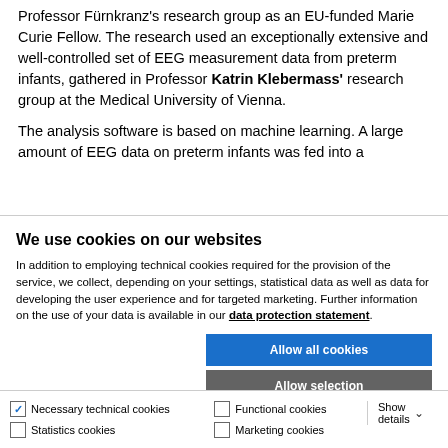Professor Fürnkranz's research group as an EU-funded Marie Curie Fellow. The research used an exceptionally extensive and well-controlled set of EEG measurement data from preterm infants, gathered in Professor Katrin Klebermass' research group at the Medical University of Vienna.
The analysis software is based on machine learning. A large amount of EEG data on preterm infants was fed into a
We use cookies on our websites
In addition to employing technical cookies required for the provision of the service, we collect, depending on your settings, statistical data as well as data for developing the user experience and for targeted marketing. Further information on the use of your data is available in our data protection statement.
Allow all cookies
Allow selection
Use necessary cookies only
Necessary technical cookies | Functional cookies | Statistics cookies | Marketing cookies | Show details